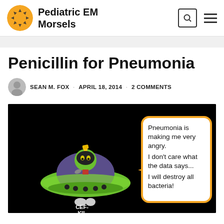Pediatric EM Morsels
Penicillin for Pneumonia
SEAN M. FOX · APRIL 18, 2014 · 2 COMMENTS
[Figure (illustration): Cartoon of Marvin the Martian in a flying saucer with a speech bubble: 'Pneumonia is making me very angry. I don't care what the data says... I will destroy all bacteria!' and a label reading CEF-KIL at the bottom.]